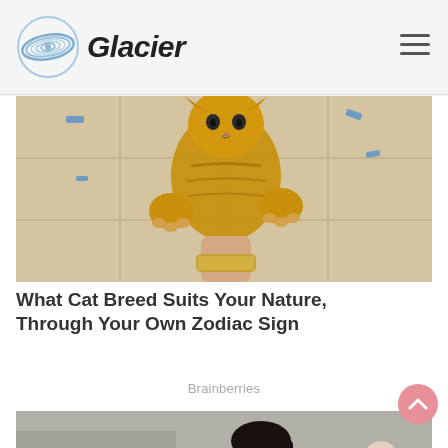Glacier
[Figure (photo): A person holding up an orange tabby kitten facing the camera, viewed from below against a tiled floor background with blue markings]
What Cat Breed Suits Your Nature, Through Your Own Zodiac Sign
Brainberries
[Figure (photo): A woman with long dark hair in a ponytail holding a baby dressed in blue. An older man in a white shirt visible in background.]